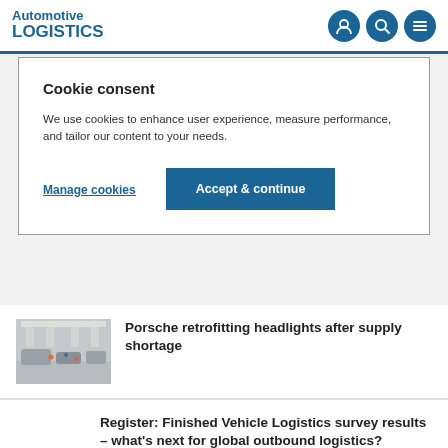Automotive LOGISTICS
Cookie consent
We use cookies to enhance user experience, measure performance, and tailor our content to your needs.
Manage cookies
Accept & continue
[Figure (photo): Interior of an automotive manufacturing plant with workers and vehicles on the production floor]
Porsche retrofitting headlights after supply shortage
Register: Finished Vehicle Logistics survey results – what's next for global outbound logistics?